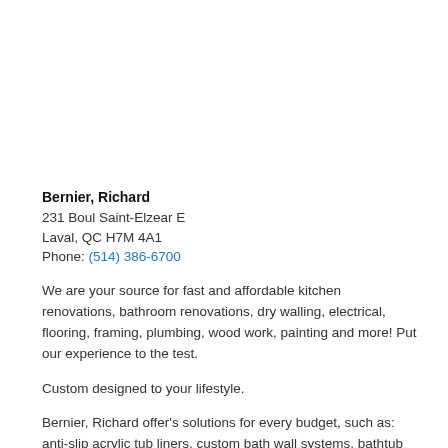Bernier, Richard
231 Boul Saint-Elzear E
Laval, QC H7M 4A1
Phone: (514) 386-6700
We are your source for fast and affordable kitchen renovations, bathroom renovations, dry walling, electrical, flooring, framing, plumbing, wood work, painting and more! Put our experience to the test.
Custom designed to your lifestyle.
Bernier, Richard offer's solutions for every budget, such as: anti-slip acrylic tub liners, custom bath wall systems, bathtub re-glazing, tub replacements, ceramic tile installations, grout restoration, acrylic and fiberglass repairs and more.